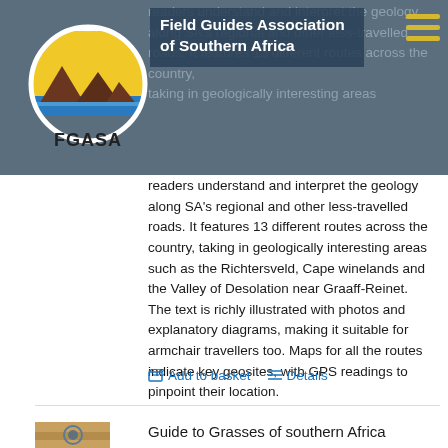[Figure (logo): FGASA logo: circular badge with yellow sun, brown mountains, blue water stripe, white border, and FGASA text below]
Field Guides Association of Southern Africa
readers understand and interpret the geology along SA's regional and other less-travelled roads. It features 13 different routes across the country, taking in geologically interesting areas such as the Richtersveld, Cape winelands and the Valley of Desolation near Graaff-Reinet. The text is richly illustrated with photos and explanatory diagrams, making it suitable for armchair travellers too. Maps for all the routes indicate key geosites, with GPS readings to pinpoint their location.
Add to basket
Details
Guide to Grasses of southern Africa